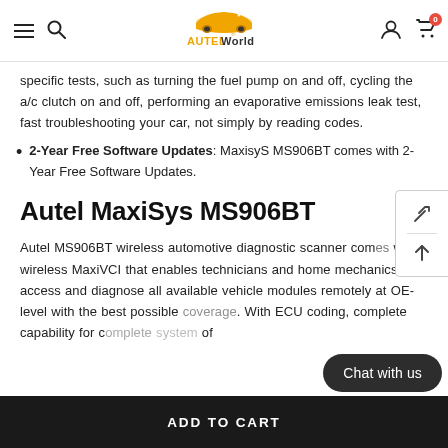AUTELWorld navigation bar with hamburger menu, search, logo, user icon, and cart (0)
specific tests, such as turning the fuel pump on and off, cycling the a/c clutch on and off, performing an evaporative emissions leak test, fast troubleshooting your car, not simply by reading codes.
2-Year Free Software Updates: MaxisyS MS906BT comes with 2- Year Free Software Updates.
Autel MaxiSys MS906BT
Autel MS906BT wireless automotive diagnostic scanner comes with wireless MaxiVCI that enables technicians and home mechanics to access and diagnose all available vehicle modules remotely at OE-level with the best possible coverage. With ECU coding, complete capability for a... of
Chat with us
ADD TO CART